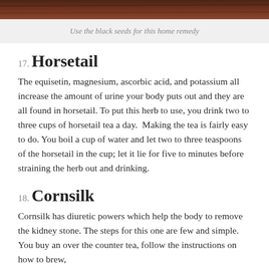[Figure (photo): Bottom portion of a photo showing dark reddish-brown wooden surface or seeds]
Use the black seeds for this home remedy
17. Horsetail
The equisetin, magnesium, ascorbic acid, and potassium all increase the amount of urine your body puts out and they are all found in horsetail. To put this herb to use, you drink two to three cups of horsetail tea a day.  Making the tea is fairly easy to do. You boil a cup of water and let two to three teaspoons of the horsetail in the cup; let it lie for five to minutes before straining the herb out and drinking.
18. Cornsilk
Cornsilk has diuretic powers which help the body to remove the kidney stone. The steps for this one are few and simple. You buy an over the counter tea, follow the instructions on how to brew,